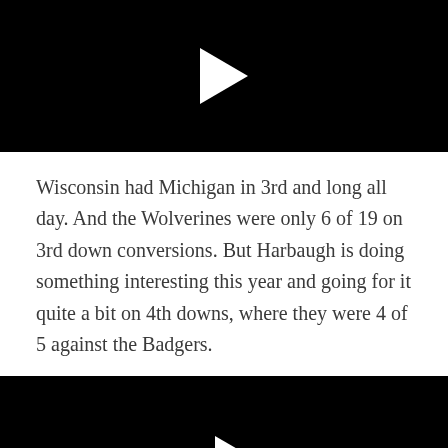[Figure (screenshot): Black video player thumbnail with white play button triangle, top video]
Wisconsin had Michigan in 3rd and long all day. And the Wolverines were only 6 of 19 on 3rd down conversions. But Harbaugh is doing something interesting this year and going for it quite a bit on 4th downs, where they were 4 of 5 against the Badgers.
[Figure (screenshot): Black video player thumbnail with white play button triangle, bottom video (partially visible)]